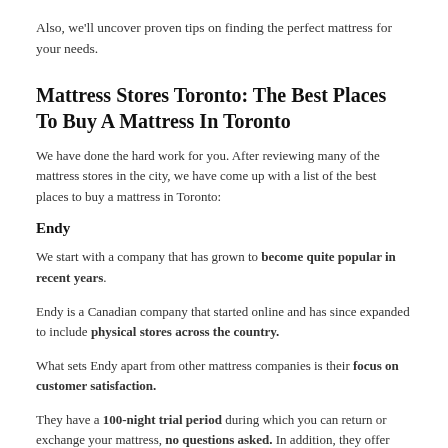Also, we'll uncover proven tips on finding the perfect mattress for your needs.
Mattress Stores Toronto: The Best Places To Buy A Mattress In Toronto
We have done the hard work for you. After reviewing many of the mattress stores in the city, we have come up with a list of the best places to buy a mattress in Toronto:
Endy
We start with a company that has grown to become quite popular in recent years.
Endy is a Canadian company that started online and has since expanded to include physical stores across the country.
What sets Endy apart from other mattress companies is their focus on customer satisfaction.
They have a 100-night trial period during which you can return or exchange your mattress, no questions asked. In addition, they offer free shipping and returns and a ten-year warranty.